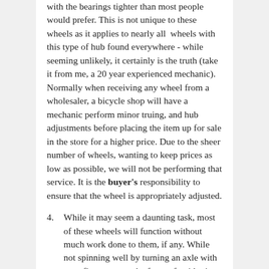with the bearings tighter than most people would prefer. This is not unique to these wheels as it applies to nearly all wheels with this type of hub found everywhere - while seeming unlikely, it certainly is the truth (take it from me, a 20 year experienced mechanic). Normally when receiving any wheel from a wholesaler, a bicycle shop will have a mechanic perform minor truing, and hub adjustments before placing the item up for sale in the store for a higher price. Due to the sheer number of wheels, wanting to keep prices as low as possible, we will not be performing that service. It is the buyer's responsibility to ensure that the wheel is appropriately adjusted.
4. While it may seem a daunting task, most of these wheels will function without much work done to them, if any. While not spinning well by turning an axle with your fingers, once the force of a rider is applied, multiplied by